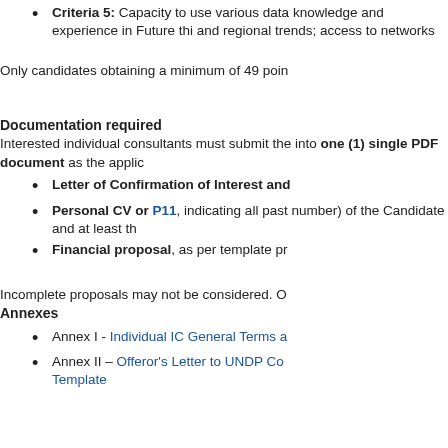Criteria 5: Capacity to use various data knowledge and experience in Future thinking and regional trends; access to networks
Only candidates obtaining a minimum of 49 poin
Documentation required
Interested individual consultants must submit the into one (1) single PDF document as the applic
Letter of Confirmation of Interest and
Personal CV or P11, indicating all past number) of the Candidate and at least th
Financial proposal, as per template pr
Incomplete proposals may not be considered. O
Annexes
Annex I - Individual IC General Terms a
Annex II – Offeror's Letter to UNDP Co Template